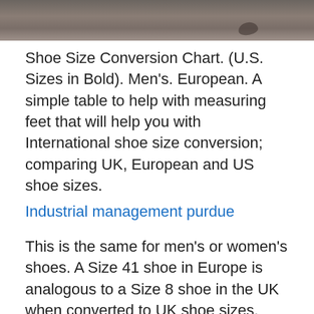[Figure (photo): Top portion of a photo showing ground/soil texture, likely a footwear or outdoor setting]
Shoe Size Conversion Chart. (U.S. Sizes in Bold). Men's. European. A simple table to help with measuring feet that will help you with International shoe size conversion; comparing UK, European and US shoe sizes.
Industrial management purdue
This is the same for men's or women's shoes. A Size 41 shoe in Europe is analogous to a Size 8 shoe in the UK when converted to UK shoe sizes.
In some regions, it is even customary to use different shoe-size systems for different types of shoes (e.g., men's, women's, children's, sport or safety shoes).
Do 4 källkritiska kriterierna